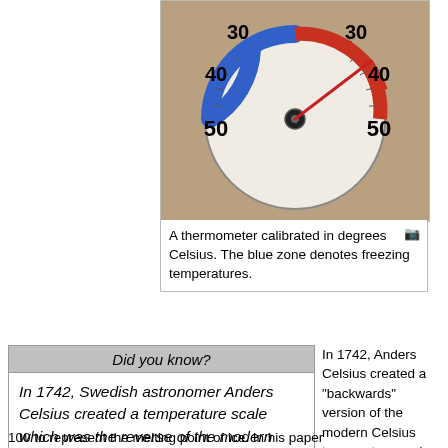[Figure (photo): A circular thermometer calibrated in degrees Celsius showing numbers 30, 40, 50 on both left (blue zone) and right (red zone) sides, with a needle pointing right.]
A thermometer calibrated in degrees Celsius. The blue zone denotes freezing temperatures.
Did you know?
In 1742, Swedish astronomer Anders Celsius created a temperature scale which was the reverse of the modern Celsius scale
In 1742, Anders Celsius created a "backwards" version of the modern Celsius temperature scale, using zero to represent the boiling point of water and 100 to represent the melting point of ice. In his paper